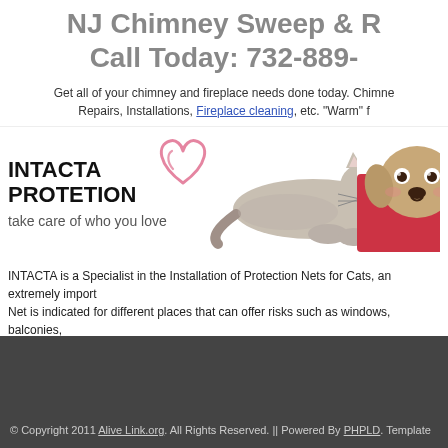NJ Chimney Sweep & R
Call Today: 732-889-
Get all of your chimney and fireplace needs done today. Chimne Repairs, Installations, Fireplace cleaning, etc. "Warm" f
[Figure (illustration): INTACTA PROTETION banner with heart doodle, a cat lying down, and a dog wrapped in a red blanket. Text: 'take care of who you love']
INTACTA is a Specialist in the Installation of Protection Nets for Cats, an extremely import Net is indicated for different places that can offer risks such as windows, balconies,
Total records: 41
© Copyright 2011 Alive Link.org. All Rights Reserved. || Powered By PHPLD. Template